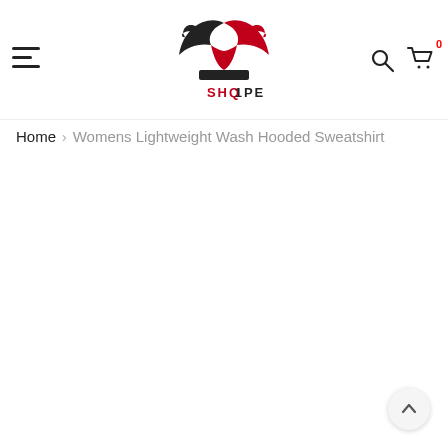[Figure (logo): SHQIPE brand logo featuring two eagle heads in red and black with wings, crown-like shape, and text 'SHQIPE' below in red and black]
Home > Womens Lightweight Wash Hooded Sweatshirt